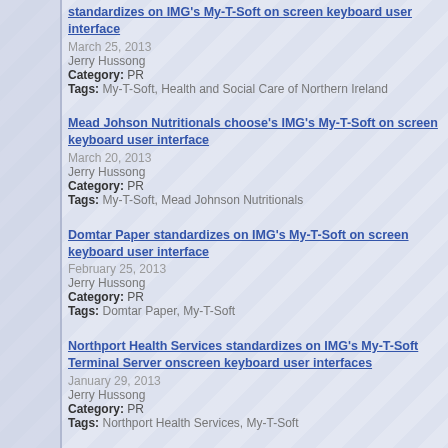standardizes on IMG's My-T-Soft on screen keyboard user interface
March 25, 2013
Jerry Hussong
Category: PR
Tags: My-T-Soft, Health and Social Care of Northern Ireland
Mead Johson Nutritionals choose's IMG's My-T-Soft on screen keyboard user interface
March 20, 2013
Jerry Hussong
Category: PR
Tags: My-T-Soft, Mead Johnson Nutritionals
Domtar Paper standardizes on IMG's My-T-Soft on screen keyboard user interface
February 25, 2013
Jerry Hussong
Category: PR
Tags: Domtar Paper, My-T-Soft
Northport Health Services standardizes on IMG's My-T-Soft Terminal Server onscreen keyboard user interfaces
January 29, 2013
Jerry Hussong
Category: PR
Tags: Northport Health Services, My-T-Soft